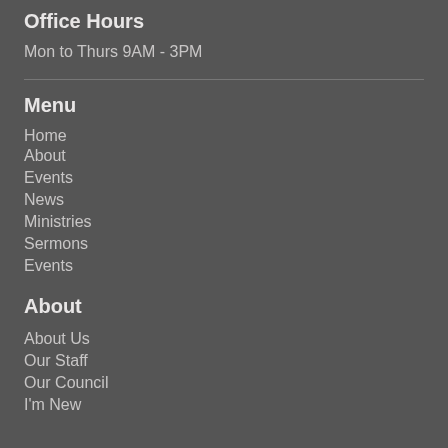Office Hours
Mon to Thurs 9AM - 3PM
Menu
Home
About
Events
News
Ministries
Sermons
Events
About
About Us
Our Staff
Our Council
I'm New